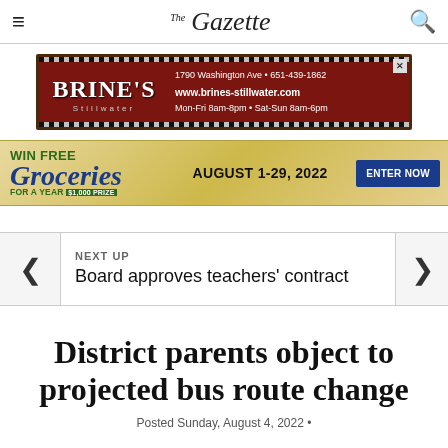The Gazette
[Figure (other): Brine's Stillwater advertisement: 1790 Washington Ave • 651-439-1862, www.brines-stillwater.com, Mon-Fri 8am-8pm • Sat-Sun 8am-6pm]
[Figure (other): Win Free Groceries For A Year advertisement: August 1-29, 2022, Enter Now]
NEXT UP
Board approves teachers' contract
District parents object to projected bus route change